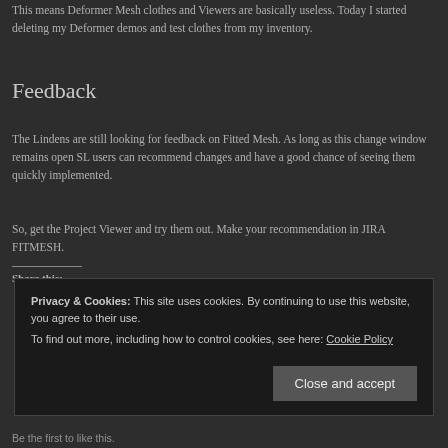This means Deformer Mesh clothes and Viewers are basically useless. Today I started deleting my Deformer demos and test clothes from my inventory.
Feedback
The Lindens are still looking for feedback on Fitted Mesh. As long as this change window remains open SL users can recommend changes and have a good chance of seeing them quickly implemented.
So, get the Project Viewer and try them out. Make your recommendation in JIRA FITMESH.
Share this:
Privacy & Cookies: This site uses cookies. By continuing to use this website, you agree to their use. To find out more, including how to control cookies, see here: Cookie Policy
Be the first to like this.